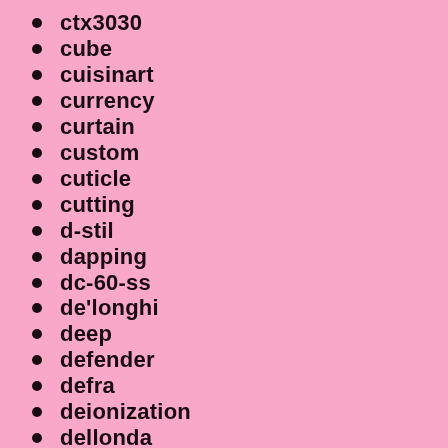ctx3030
cube
cuisinart
currency
curtain
custom
cuticle
cutting
d-stil
dapping
dc-60-ss
de'longhi
deep
defender
defra
deionization
dellonda
deluxe
dene